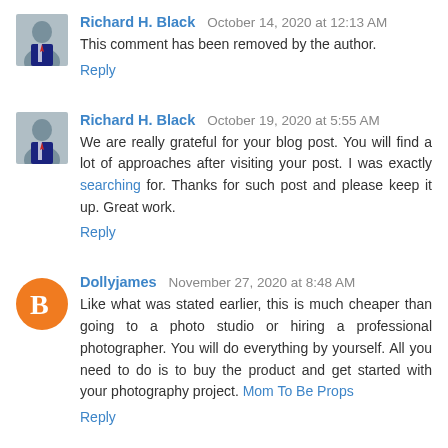Richard H. Black  October 14, 2020 at 12:13 AM
This comment has been removed by the author.
Reply
Richard H. Black  October 19, 2020 at 5:55 AM
We are really grateful for your blog post. You will find a lot of approaches after visiting your post. I was exactly searching for. Thanks for such post and please keep it up. Great work.
Reply
Dollyjames  November 27, 2020 at 8:48 AM
Like what was stated earlier, this is much cheaper than going to a photo studio or hiring a professional photographer. You will do everything by yourself. All you need to do is to buy the product and get started with your photography project. Mom To Be Props
Reply